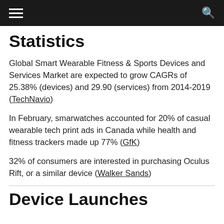Statistics
Global Smart Wearable Fitness & Sports Devices and Services Market are expected to grow CAGRs of 25.38% (devices) and 29.90 (services) from 2014-2019 (TechNavio)
In February, smarwatches accounted for 20% of casual wearable tech print ads in Canada while health and fitness trackers made up 77% (GfK)
32% of consumers are interested in purchasing Oculus Rift, or a similar device (Walker Sands)
Device Launches